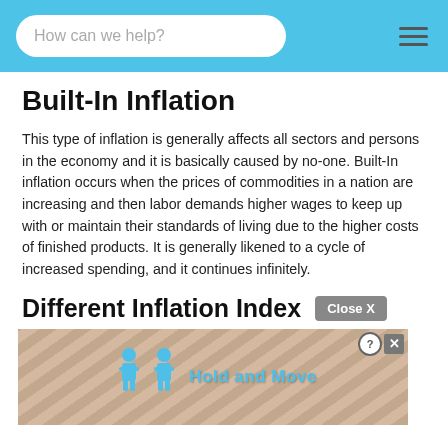How can we help?
Built-In Inflation
This type of inflation is generally affects all sectors and persons in the economy and it is basically caused by no-one. Built-In inflation occurs when the prices of commodities in a nation are increasing and then labor demands higher wages to keep up with or maintain their standards of living due to the higher costs of finished products. It is generally likened to a cycle of increased spending, and it continues infinitely.
Different Inflation Index
[Figure (other): Advertisement banner overlay showing animated figures with 'Hold and Move' text label, with Close X and help icons]
The two ... the general increase in price levels in a national economy